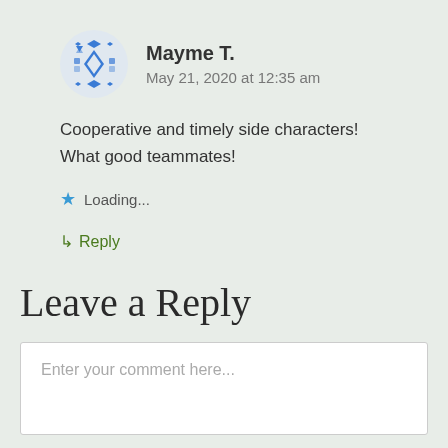Mayme T. — May 21, 2020 at 12:35 am
Cooperative and timely side characters! What good teammates!
Loading...
Reply
Leave a Reply
Enter your comment here...